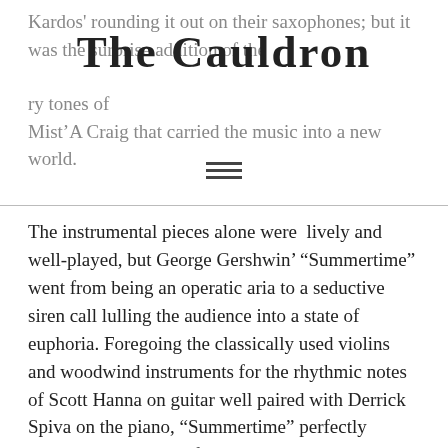Kardos' rounding it out on their saxophones; but it was the surprise addi[tion of the] ry tones of Mist'A Craig that carried the music into a new world.
The Cauldron
The instrumental pieces alone were lively and well-played, but George Gershwin' “Summertime” went from being an operatic aria to a seductive siren call lulling the audience into a state of euphoria. Foregoing the classically used violins and woodwind instruments for the rhythmic notes of Scott Hanna on guitar well paired with Derrick Spiva on the piano, “Summertime” perfectly illustrated the talent of The Other Rights to adapt and change the musicality of the works while maintaining the emotional draw.
After the pieces played by The Other Rights, a brief interlude passed, allowing for the second concert of the night; a quartet composed of Breagan Arnett on